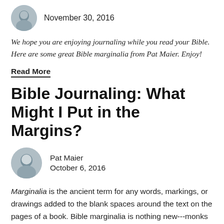November 30, 2016
We hope you are enjoying journaling while you read your Bible. Here are some great Bible marginalia from Pat Maier. Enjoy!
Read More
Bible Journaling: What Might I Put in the Margins?
Pat Maier
October 6, 2016
Marginalia is the ancient term for any words, markings, or drawings added to the blank spaces around the text on the pages of a book. Bible marginalia is nothing new---monks did it, Bach drew inspiration from it, and my grandmother